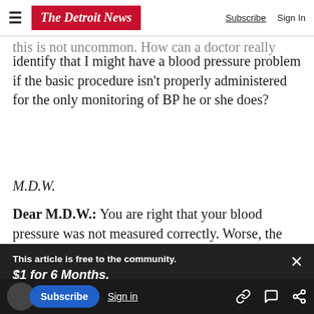The Detroit News | Subscribe | Sign In
this is not uncommon. How can a doctor really identify that I might have a blood pressure problem if the basic procedure isn't properly administered for the only monitoring of BP he or she does?
M.D.W.
Dear M.D.W.: You are right that your blood pressure was not measured correctly. Worse, the
[Figure (screenshot): Paywall overlay banner: 'This article is free to the community. $1 for 6 Months. Subscribe now' with close X button]
ll, when you tried to make sure your blood
listened to.
Subscribe | Sign in | (icons)